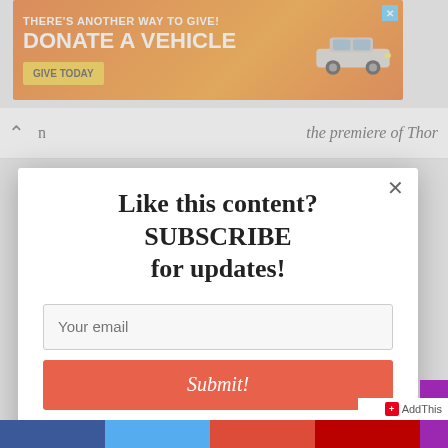[Figure (screenshot): Orange advertisement banner: 'THERE'S ANOTHER WAY TO GIVE! DONATE A VEHICLE GIVE TODAY' with car image and blue X close button]
the premiere of Thor
[Figure (screenshot): Modal popup overlay with white background containing subscribe form: 'Like this content? SUBSCRIBE for updates!' with email input field and salmon-colored Submit button. X close button top right.]
AddThis